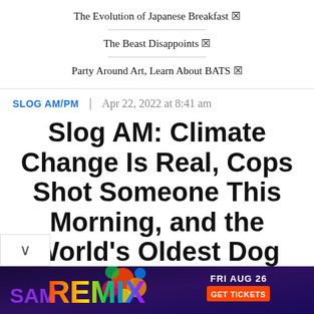The Evolution of Japanese Breakfast 🔗
The Beast Disappoints 🔗
Party Around Art, Learn About BATS 🔗
SLOG AM/PM  |  Apr 22, 2022 at 8:41 am
Slog AM: Climate Change Is Real, Cops Shot Someone This Morning, and the World's Oldest Dog Can Legally Drink in Human
[Figure (screenshot): Advertisement banner for SAM REMIX event on FRI AUG 26 with colorful stylized text on dark purple background with GET TICKETS button]